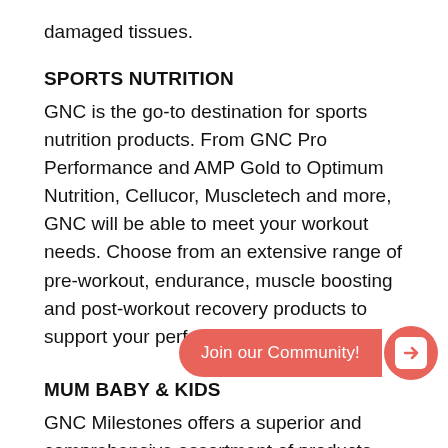damaged tissues.
SPORTS NUTRITION
GNC is the go-to destination for sports nutrition products. From GNC Pro Performance and AMP Gold to Optimum Nutrition, Cellucor, Muscletech and more, GNC will be able to meet your workout needs. Choose from an extensive range of pre-workout, endurance, muscle boosting and post-workout recovery products to support your performance goals.
MUM BABY & KIDS
GNC Milestones offers a superior and comprehensive assortment of products that cater to the nutritional needs of children for all ages in order to ensure healthy growth and development. GNC Milestones Baby caters to newborn and up, GNC Milestones Kids caters to ages 2 and up, while GNC